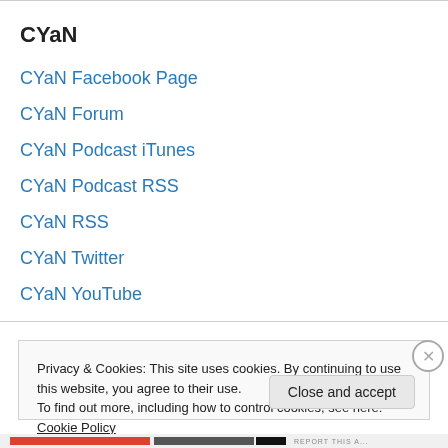CYaN
CYaN Facebook Page
CYaN Forum
CYaN Podcast iTunes
CYaN Podcast RSS
CYaN RSS
CYaN Twitter
CYaN YouTube
Privacy & Cookies: This site uses cookies. By continuing to use this website, you agree to their use.
To find out more, including how to control cookies, see here: Cookie Policy
Close and accept